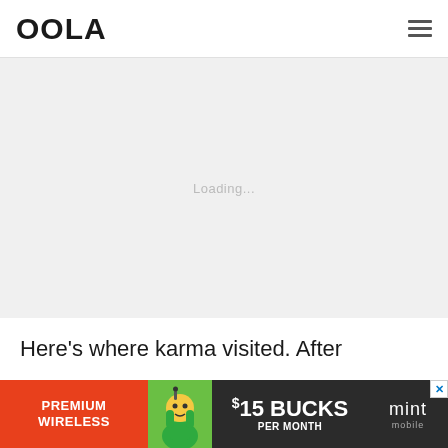OOLA
[Figure (photo): Large image area with light gray placeholder background, faint loading text visible]
Here's where karma visited. After collecting our food we stayed inside
[Figure (infographic): Mint Mobile advertisement banner: PREMIUM WIRELESS / $15 BUCKS PER MONTH / mint mobile]